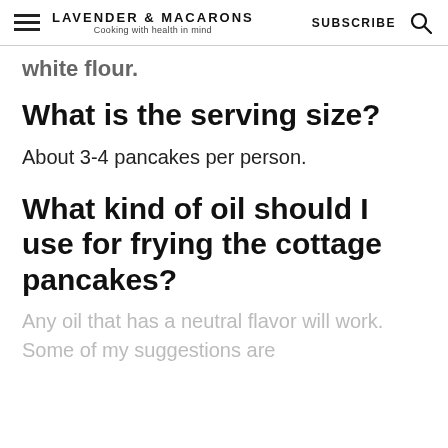LAVENDER & MACARONS — Cooking with health in mind | SUBSCRIBE
white flour.
What is the serving size?
About 3-4 pancakes per person.
What kind of oil should I use for frying the cottage pancakes?
Any oil that has a neutral flavor will work. Some of my suggestions are